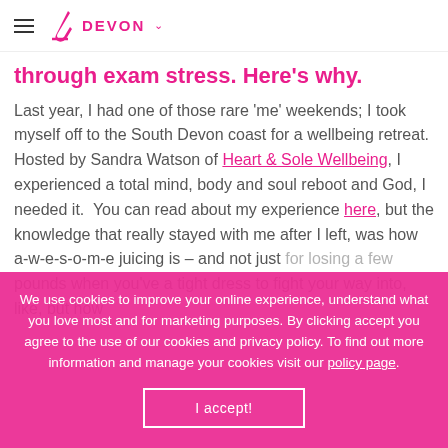DEVON
through exam stress. Here's why.
Last year, I had one of those rare 'me' weekends; I took myself off to the South Devon coast for a wellbeing retreat.  Hosted by Sandra Watson of Heart & Sole Wellbeing, I experienced a total mind, body and soul reboot and God, I needed it.  You can read about my experience here, but the knowledge that really stayed with me after I left, was how a-w-e-s-o-m-e juicing is – and not just for losing a few pounds when you've a tight dress to fight your way into, like, but how
We use cookies to improve your online experience, understand what you love most and for marketing purposes. By clicking accept you agree to the use of our cookies and privacy policy. To find out more information and manage your cookies visit our policy page.
I accept!